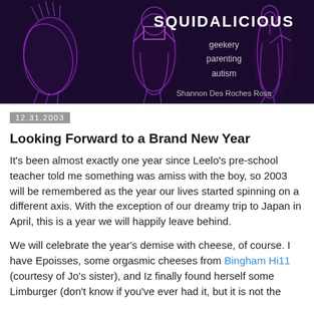[Figure (illustration): Dark purple/black banner image showing glowing purple stylized human and creature figures (squid-like) on dark background. Text overlay reads 'SQUIDALICIOUS' with subtitle 'geekery parenting autism' and author 'Shannon Des Roches Rosa'.]
12.31.2003
Looking Forward to a Brand New Year
It's been almost exactly one year since Leelo's pre-school teacher told me something was amiss with the boy, so 2003 will be remembered as the year our lives started spinning on a different axis. With the exception of our dreamy trip to Japan in April, this is a year we will happily leave behind.
We will celebrate the year's demise with cheese, of course. I have Epoisses, some orgasmic cheeses from Bingham Hi11 (courtesy of Jo's sister), and Iz finally found herself some Limburger (don't know if you've ever had it, but it is not the